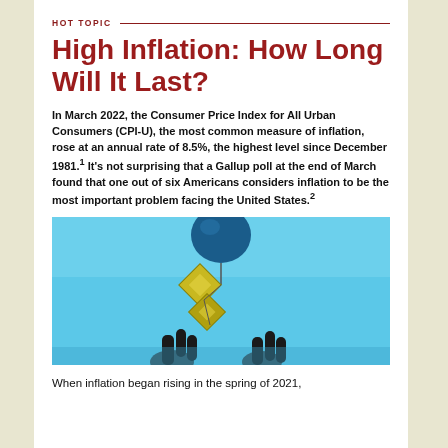HOT TOPIC
High Inflation: How Long Will It Last?
In March 2022, the Consumer Price Index for All Urban Consumers (CPI-U), the most common measure of inflation, rose at an annual rate of 8.5%, the highest level since December 1981.¹ It's not surprising that a Gallup poll at the end of March found that one out of six Americans considers inflation to be the most important problem facing the United States.²
[Figure (illustration): Illustration of a blue balloon floating upward with gold/green diamond-shaped money symbols hanging from strings, and hands reaching up from below against a light blue background.]
When inflation began rising in the spring of 2021,